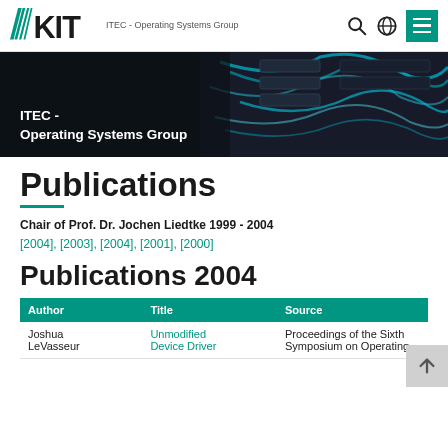KIT - ITEC - Operating Systems Group
[Figure (photo): Dark hero banner showing network cables/server hardware with overlay text 'ITEC - Operating Systems Group']
Publications
Chair of Prof. Dr. Jochen Liedtke 1999 - 2004
[2004], [2003], [2004], [2001], [2000]
Publications 2004
| Author | Title | Source |
| --- | --- | --- |
| Joshua LeVasseur | Unmodified Device Driver | Proceedings of the Sixth Symposium on Operating |